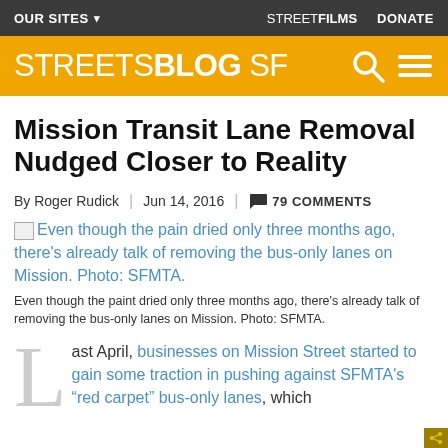OUR SITES ▾     STREETFILMS   DONATE
[Figure (logo): StreetsBlog SF logo on yellow/gold background with search and menu icons]
Mission Transit Lane Removal Nudged Closer to Reality
By Roger Rudick | Jun 14, 2016 | 💬 79 COMMENTS
Even though the pain dried only three months ago, there's already talk of removing the bus-only lanes on Mission. Photo: SFMTA.
Even though the paint dried only three months ago, there's already talk of removing the bus-only lanes on Mission. Photo: SFMTA.
Last April, businesses on Mission Street started to gain some traction in pushing against SFMTA's "red carpet" bus-only lanes, which